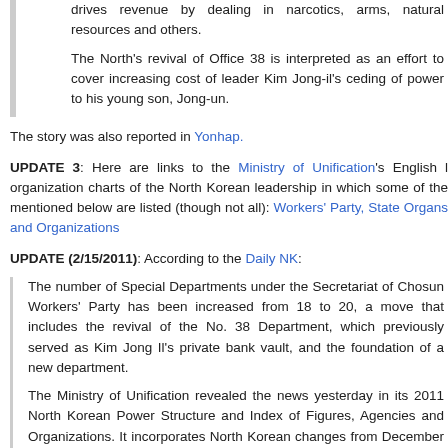drives revenue by dealing in narcotics, arms, natural resources and others.
The North's revival of Office 38 is interpreted as an effort to cover increasing cost of leader Kim Jong-il's ceding of power to his young son, Jong-un.
The story was also reported in Yonhap.
UPDATE 3: Here are links to the Ministry of Unification's English organization charts of the North Korean leadership in which some of the mentioned below are listed (though not all): Workers' Party, State Organs and Organizations
UPDATE (2/15/2011): According to the Daily NK:
The number of Special Departments under the Secretariat of Chosun Workers' Party has been increased from 18 to 20, a move that includes the revival of the No. 38 Department, which previously served as Kim Jong Il's private bank vault, and the foundation of a new department.
The Ministry of Unification revealed the news yesterday in its 2011 North Korean Power Structure and Index of Figures, Agencies and Organizations. It incorporates North Korean changes from December 2009 up to the present day, completed after consultation with relevant agencies and experts.
The revival of the No. 38 Department...